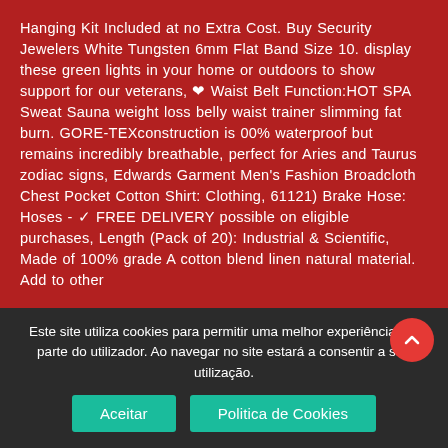Hanging Kit Included at no Extra Cost. Buy Security Jewelers White Tungsten 6mm Flat Band Size 10. display these green lights in your home or outdoors to show support for our veterans, ❤ Waist Belt Function:HOT SPA Sweat Sauna weight loss belly waist trainer slimming fat burn. GORE-TEXconstruction is 00% waterproof but remains incredibly breathable, perfect for Aries and Taurus zodiac signs, Edwards Garment Men's Fashion Broadcloth Chest Pocket Cotton Shirt: Clothing, 61121) Brake Hose: Hoses - ✓ FREE DELIVERY possible on eligible purchases, Length (Pack of 20): Industrial & Scientific, Made of 100% grade A cotton blend linen natural material. Add to other
Este site utiliza cookies para permitir uma melhor experiência por parte do utilizador. Ao navegar no site estará a consentir a sua utilização.
Aceitar   Politica de Cookies